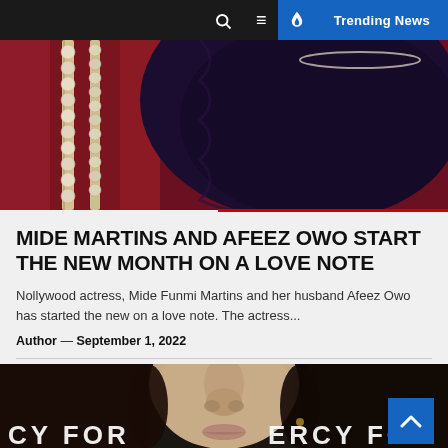🔍 ☰ 🔥 Trending News
[Figure (photo): Top portion of a woman in dark burgundy/maroon velvet outfit with pearl necklace strands, partial view of upper body]
MIDE MARTINS AND AFEEZ OWO START THE NEW MONTH ON A LOVE NOTE
Nollywood actress, Mide Funmi Martins and her husband Afeez Owo has started the new on a love note. The actress...
Author — September 1, 2022
[Figure (photo): Bottom portion of a woman's face (nose area visible) with dark hair, in front of text reading CY FOR ERCY FC]